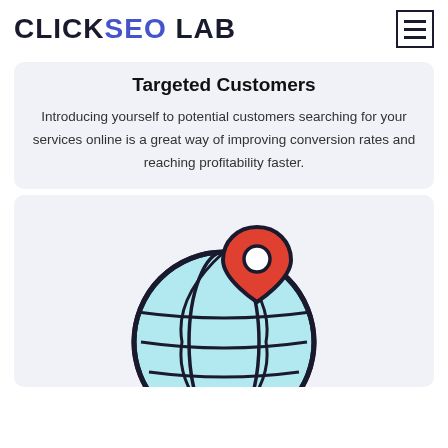CLICKSEO LAB
Targeted Customers
Introducing yourself to potential customers searching for your services online is a great way of improving conversion rates and reaching profitability faster.
[Figure (illustration): Globe with a red location pin marker on top, illustrated in a flat icon style with light blue fill and dark outlines, showing grid lines on the globe surface.]